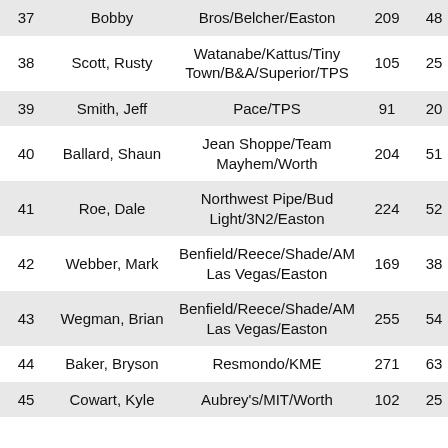| # | Name | Sponsors | Pts | HR | SB | Avg |
| --- | --- | --- | --- | --- | --- | --- |
| 37 | Bobby | Bros/Belcher/Easton | 209 | 48 | 21 | 3. |
| 38 | Scott, Rusty | Watanabe/Kattus/Tiny Town/B&A/Superior/TPS | 105 | 25 | 7 | 3. |
| 39 | Smith, Jeff | Pace/TPS | 91 | 20 | 12 | 3. |
| 40 | Ballard, Shaun | Jean Shoppe/Team Mayhem/Worth | 204 | 51 | 2 | 3. |
| 41 | Roe, Dale | Northwest Pipe/Bud Light/3N2/Easton | 224 | 52 | 18 | 3. |
| 42 | Webber, Mark | Benfield/Reece/Shade/AM Las Vegas/Easton | 169 | 38 | 18 | 3. |
| 43 | Wegman, Brian | Benfield/Reece/Shade/AM Las Vegas/Easton | 255 | 54 | 39 | 4. |
| 44 | Baker, Bryson | Resmondo/KME | 271 | 63 | 17 | 4. |
| 45 | Cowart, Kyle | Aubrey's/MIT/Worth | 102 | 25 | 1 | 4. |